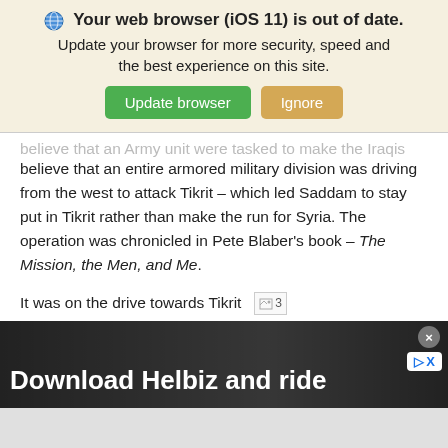[Figure (screenshot): Browser update notification banner with globe icon, bold title 'Your web browser (iOS 11) is out of date.', subtitle 'Update your browser for more security, speed and the best experience on this site.', and two buttons: green 'Update browser' and tan 'Ignore']
believe that an entire armored military division was driving from the west to attack Tikrit – which led Saddam to stay put in Tikrit rather than make the run for Syria. The operation was chronicled in Pete Blaber's book – The Mission, the Men, and Me.
It was on the drive towards Tikrit somewhere in the deserts of Western Iraq, on the night of April 8th, 2003 that Scott Sather
[Figure (screenshot): Advertisement banner: dark background with white bold text 'Download Helbiz and ride', close button (x) and logo in top right corner]